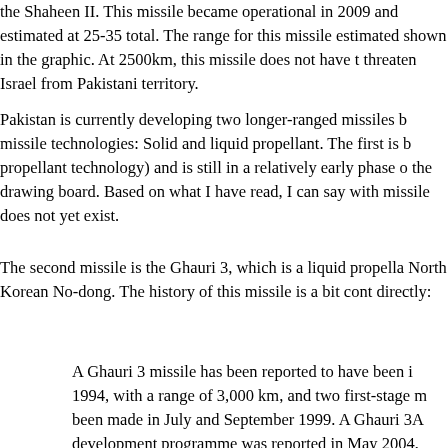the Shaheen II. This missile became operational in 2009 and estimated at 25-35 total. The range for this missile estimated shown in the graphic. At 2500km, this missile does not have threaten Israel from Pakistani territory.
Pakistan is currently developing two longer-ranged missiles b missile technologies: Solid and liquid propellant. The first is b propellant technology) and is still in a relatively early phase o the drawing board. Based on what I have read, I can say with missile does not yet exist.
The second missile is the Ghauri 3, which is a liquid propella North Korean No-dong. The history of this missile is a bit cont directly:
A Ghauri 3 missile has been reported to have been i 1994, with a range of 3,000 km, and two first-stage m been made in July and September 1999. A Ghauri 3A development programme was reported in May 2004, 3,500 km. A report from Pakistan in January 2009 sta 3 was operational, but did not give any details about of any flight tests.
An unconfirmed report in 2000 suggested that the li